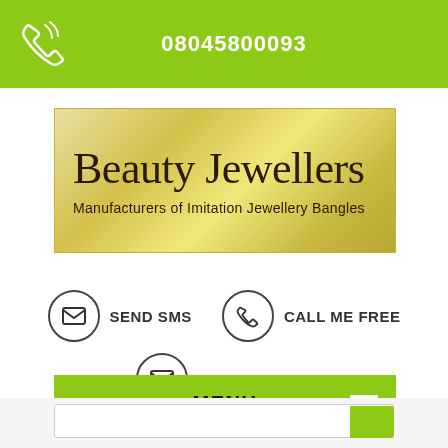08045800093
[Figure (logo): Beauty Jewellers logo banner with gold gradient background. Title reads 'Beauty Jewellers' in large serif font. Subtitle reads 'Manufacturers of Imitation Jewellery Bangles'.]
SEND SMS
CALL ME FREE
SEND INQUIRY
MENU